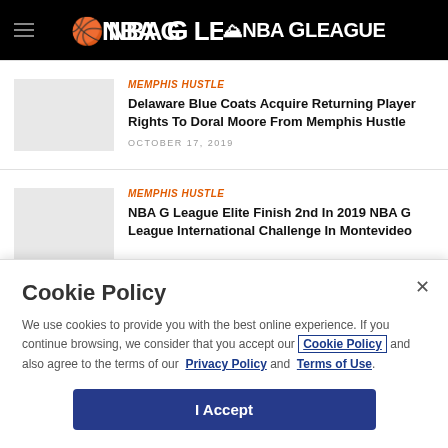NBA G LEAGUE
MEMPHIS HUSTLE
Delaware Blue Coats Acquire Returning Player Rights To Doral Moore From Memphis Hustle
OCTOBER 17, 2019
MEMPHIS HUSTLE
NBA G League Elite Finish 2nd In 2019 NBA G League International Challenge In Montevideo
Cookie Policy
We use cookies to provide you with the best online experience. If you continue browsing, we consider that you accept our Cookie Policy and also agree to the terms of our Privacy Policy and Terms of Use.
I Accept